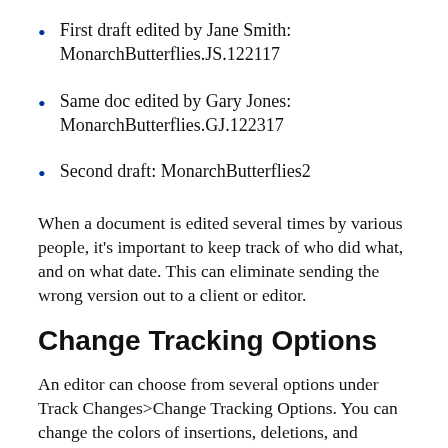First draft edited by Jane Smith: MonarchButterflies.JS.122117
Same doc edited by Gary Jones: MonarchButterflies.GJ.122317
Second draft: MonarchButterflies2
When a document is edited several times by various people, it’s important to keep track of who did what, and on what date. This can eliminate sending the wrong version out to a client or editor.
Change Tracking Options
An editor can choose from several options under Track Changes>Change Tracking Options. You can change the colors of insertions, deletions, and strikethroughs.